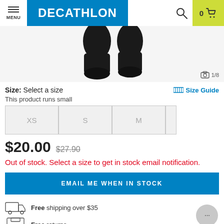MENU | DECATHLON | Search | 0 Cart
[Figure (photo): Product photo of black compression socks/leg sleeves on a white/light background, partially cropped, with image counter showing 1/8]
Size: Select a size
Size Guide
This product runs small
XS | S | M | (partially visible next size)
$20.00  $27.90
Out of stock. Select a size to get in stock email notification.
EMAIL ME WHEN IN STOCK
Free shipping over $35
Free returns